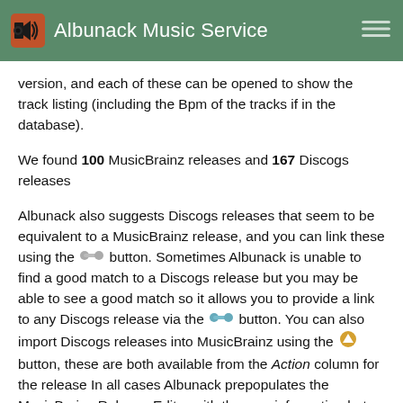Albunack Music Service
version, and each of these can be opened to show the track listing (including the Bpm of the tracks if in the database).
We found 100 MusicBrainz releases and 167 Discogs releases
Albunack also suggests Discogs releases that seem to be equivalent to a MusicBrainz release, and you can link these using the 🔗 button. Sometimes Albunack is unable to find a good match to a Discogs release but you may be able to see a good match so it allows you to provide a link to any Discogs release via the 🔗 button. You can also import Discogs releases into MusicBrainz using the 🔊 button, these are both available from the Action column for the release In all cases Albunack prepopulates the MusicBrainz Release Editor with the new information but